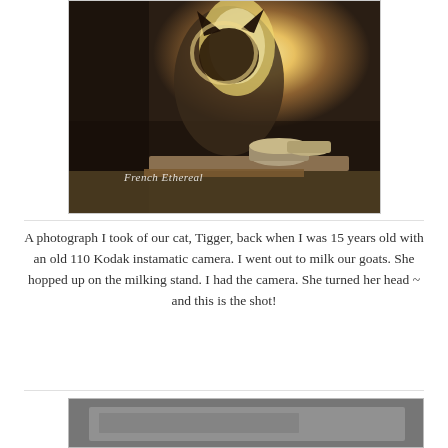[Figure (photo): Sepia-toned photograph of a fluffy cat (Tigger) on a milking stand next to metal bowls, with 'French Ethereal' watermark in cursive script at lower left]
A photograph I took of our cat, Tigger, back when I was 15 years old with an old 110 Kodak instamatic camera. I went out to milk our goats. She hopped up on the milking stand. I had the camera. She turned her head ~ and this is the shot!
[Figure (photo): Black and white photograph, partially visible at bottom of page, appears to show a framed or printed image]